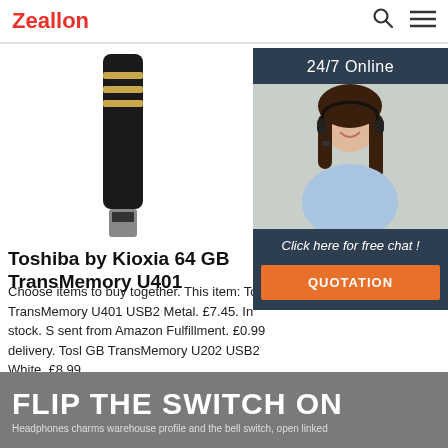Zeallon
[Figure (photo): Black USB flash drive (Toshiba TransMemory U401) shown vertically against white background, top portion visible]
[Figure (photo): 24/7 Online chat widget with photo of a smiling woman with headset, with 'Click here for free chat!' text and QUOTATION button]
Toshiba by Kioxia 64 GB TransMemory U401
Choose items to buy together. This item: Toshiba TransMemory U401 USB2 Metal. £7.45. In stock. S sent from Amazon Fulfillment. £0.99 delivery. Tosl GB TransMemory U202 USB2 White. £8.99.
Get Price
FLIP THE SWITCH ON
Headphones charms warehouse profile and the bell switch, open linked